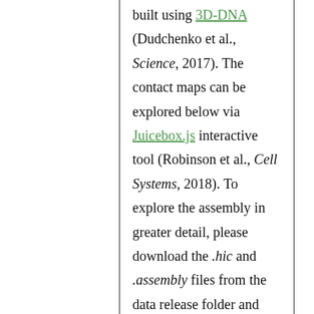built using 3D-DNA (Dudchenko et al., Science, 2017). The contact maps can be explored below via Juicebox.js interactive tool (Robinson et al., Cell Systems, 2018). To explore the assembly in greater detail, please download the .hic and .assembly files from the data release folder and use Juicebox Assembly Tools (Dudchenko et al., bioRxiv, 2018).